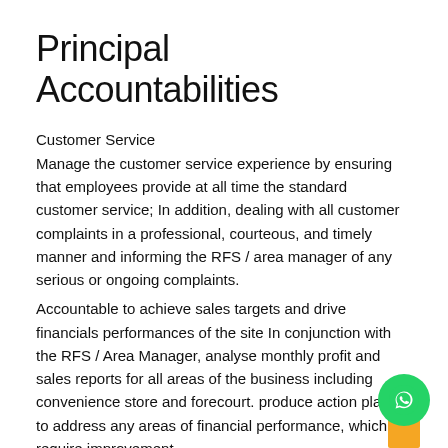Principal Accountabilities
Customer Service
Manage the customer service experience by ensuring that employees provide at all time the standard customer service; In addition, dealing with all customer complaints in a professional, courteous, and timely manner and informing the RFS / area manager of any serious or ongoing complaints.
Accountable to achieve sales targets and drive financials performances of the site In conjunction with the RFS / Area Manager, analyse monthly profit and sales reports for all areas of the business including convenience store and forecourt. produce action plans to address any areas of financial performance, which require improvement.
Administrative Responsibilities
The Site In-charge is responsible for:
Monitoring of all shifts